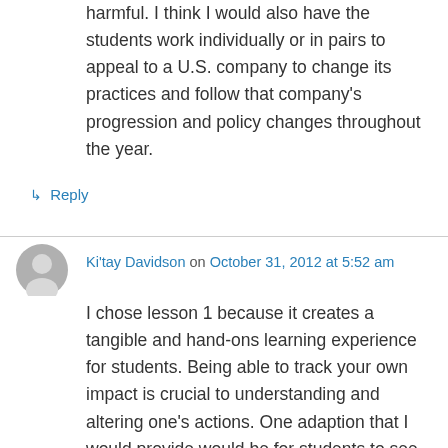harmful. I think I would also have the students work individually or in pairs to appeal to a U.S. company to change its practices and follow that company's progression and policy changes throughout the year.
↳ Reply
Ki'tay Davidson on October 31, 2012 at 5:52 am
I chose lesson 1 because it creates a tangible and hand-ons learning experience for students. Being able to track your own impact is crucial to understanding and altering one's actions. One adaption that I would provide would be for students to see how much pollution is in their neighborhood in comparison to others. From